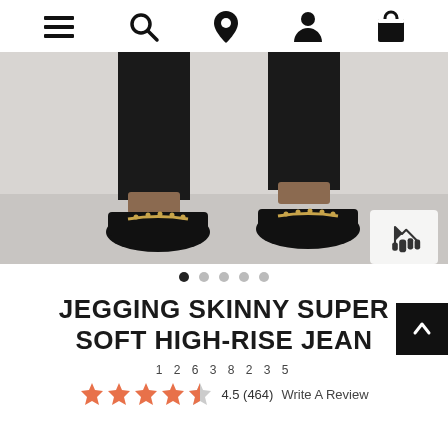Navigation bar with menu, search, location, account, and cart icons
[Figure (photo): Product photo showing woman's legs wearing black skinny jeans with black suede loafers featuring gold chain detail, against light grey background. A zoom/expand icon appears in the bottom right corner.]
Carousel dots: 5 dots, first one active (black)
JEGGING SKINNY SUPER SOFT HIGH-RISE JEAN
12638235
4.5 (464)  Write A Review